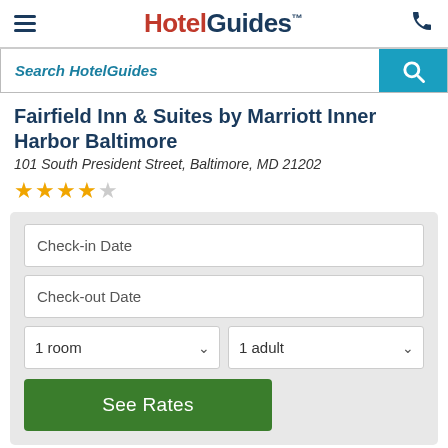HotelGuides
Search HotelGuides
Fairfield Inn & Suites by Marriott Inner Harbor Baltimore
101 South President Street, Baltimore, MD 21202
3.5 star rating
Check-in Date
Check-out Date
1 room
1 adult
See Rates
Fairfield Inn & Suites by Marriott Inner